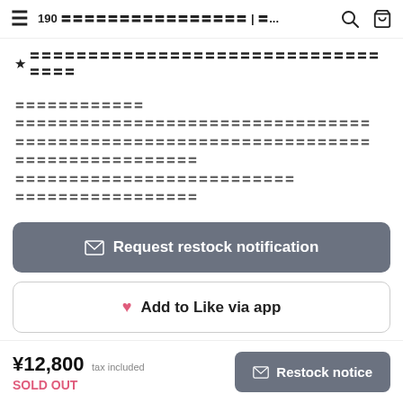190 ???????????????????????????? | ?... (search icon) (cart icon)
★ ????????????????????????????????????????????????
?????????????
????????????????????????????????????????????????
????????????????????????????????????????????????
????????????????????????????????
???????????????????????????????????????????
???????????????????
✉ Request restock notification
♥ Add to Like via app
¥12,800 tax included
SOLD OUT
✉ Restock notice